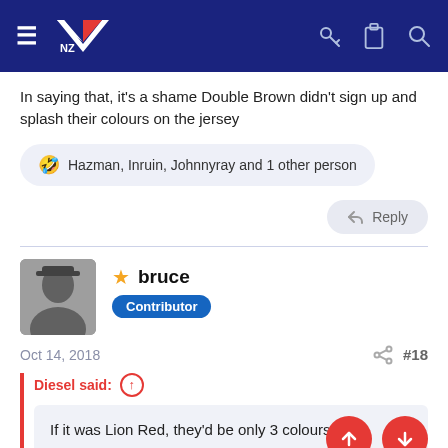NZ (navigation bar with logo, hamburger menu, key, clipboard, search icons)
In saying that, it's a shame Double Brown didn't sign up and splash their colours on the jersey
🤣 Hazman, Inruin, Johnnyray and 1 other person
Reply
bruce
Contributor
Oct 14, 2018	#18
Diesel said: ↑
If it was Lion Red, they'd be only 3 colours.